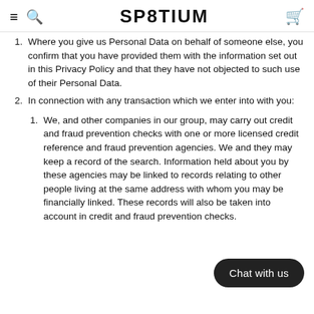SP8TIUM
Where you give us Personal Data on behalf of someone else, you confirm that you have provided them with the information set out in this Privacy Policy and that they have not objected to such use of their Personal Data.
In connection with any transaction which we enter into with you:
We, and other companies in our group, may carry out credit and fraud prevention checks with one or more licensed credit reference and fraud prevention agencies. We and they may keep a record of the search. Information held about you by these agencies may be linked to records relating to other people living at the same address with whom you may be financially linked. These records will also be taken into account in credit and fraud prevention checks.